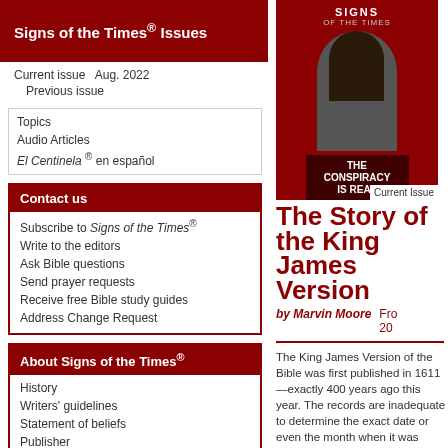Signs of the Times® Issues
Current issue  Aug. 2022
Previous issue
Topics
Audio Articles
El Centinela® en español
Contact us
Subscribe to Signs of the Times®
Write to the editors
Ask Bible questions
Send prayer requests
Receive free Bible study guides
Address Change Request
About Signs of the Times®
History
Writers' guidelines
Statement of beliefs
Publisher
Donate to Signs World Evangelism
Privacy statement
Links to other ministries
[Figure (photo): Signs of the Times magazine cover showing a woman with text THE CONSPIRACY IS REAL]
The Story of the King James Version
by Marvin Moore
From 20
The King James Version of the Bible was first published in 1611—exactly 400 years ago this year. The records are inadequate to determine the exact date or even the month when it was published. Only the year is certain.
The words are pretty much the same as today's